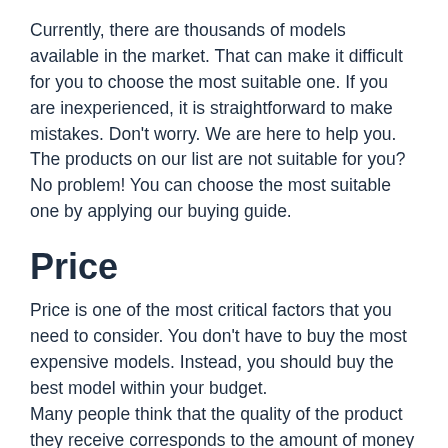Currently, there are thousands of models available in the market. That can make it difficult for you to choose the most suitable one. If you are inexperienced, it is straightforward to make mistakes. Don't worry. We are here to help you. The products on our list are not suitable for you? No problem! You can choose the most suitable one by applying our buying guide.
Price
Price is one of the most critical factors that you need to consider. You don't have to buy the most expensive models. Instead, you should buy the best model within your budget. Many people think that the quality of the product they receive corresponds to the amount of money they spend. Yes, that's true in most cases! Buying Best Turntable Under $1000 is no exception.